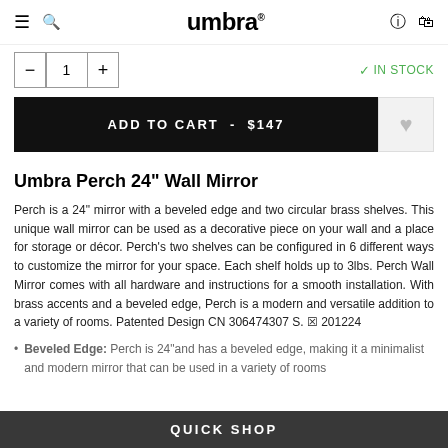umbra
- 1 + ✓ IN STOCK
ADD TO CART - $147
Umbra Perch 24" Wall Mirror
Perch is a 24" mirror with a beveled edge and two circular brass shelves. This unique wall mirror can be used as a decorative piece on your wall and a place for storage or décor. Perch's two shelves can be configured in 6 different ways to customize the mirror for your space. Each shelf holds up to 3lbs. Perch Wall Mirror comes with all hardware and instructions for a smooth installation. With brass accents and a beveled edge, Perch is a modern and versatile addition to a variety of rooms. Patented Design CN 306474307 S. ⑆ 201224
Beveled Edge: Perch is 24" and has a beveled edge, making it a minimalist and modern mirror that can be used in a variety of rooms
QUICK SHOP